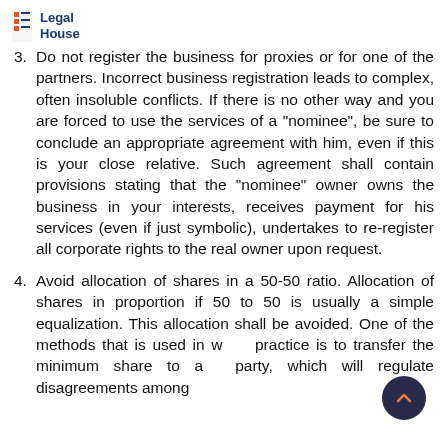Legal House
Do not register the business for proxies or for one of the partners. Incorrect business registration leads to complex, often insoluble conflicts. If there is no other way and you are forced to use the services of a "nominee", be sure to conclude an appropriate agreement with him, even if this is your close relative. Such agreement shall contain provisions stating that the "nominee" owner owns the business in your interests, receives payment for his services (even if just symbolic), undertakes to re-register all corporate rights to the real owner upon request.
Avoid allocation of shares in a 50-50 ratio. Allocation of shares in proportion if 50 to 50 is usually a simple equalization. This allocation shall be avoided. One of the methods that is used in world practice is to transfer the minimum share to a third party, which will regulate disagreements among